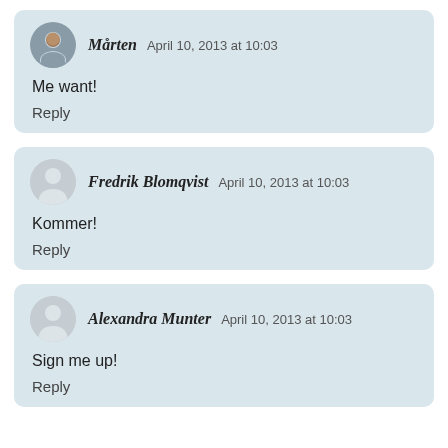Mårten April 10, 2013 at 10:03 — Me want! — Reply
Fredrik Blomqvist April 10, 2013 at 10:03 — Kommer! — Reply
Alexandra Munter April 10, 2013 at 10:03 — Sign me up! — Reply